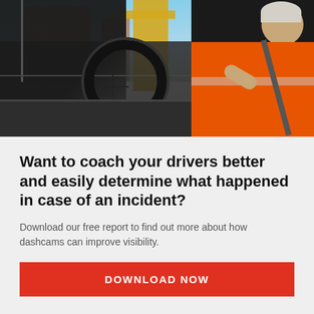[Figure (photo): A worker in an orange high-visibility vest sitting in the cab of a truck or construction vehicle, gripping the steering wheel, with a construction site visible in the background through the windshield.]
Want to coach your drivers better and easily determine what happened in case of an incident?
Download our free report to find out more about how dashcams can improve visibility.
DOWNLOAD NOW